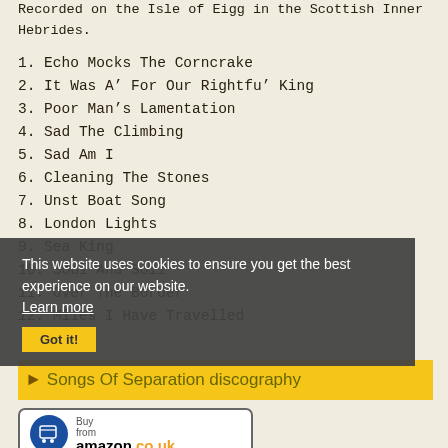Recorded on the Isle of Eigg in the Scottish Inner Hebrides.
1. Echo Mocks The Corncrake
2. It Was A’ For Our Rightfu’ King
3. Poor Man's Lamentation
4. Sad The Climbing
5. Sad Am I
6. Cleaning The Stones
7. Unst Boat Song
8. London Lights
9. Sea King
10. Soul And Soil
11. Over The Border
12. Miles I Have Travelled
This website uses cookies to ensure you get the best experience on our website. Learn more
Got it!
► Songs Of Separation discography
Buy from amazon.co.uk